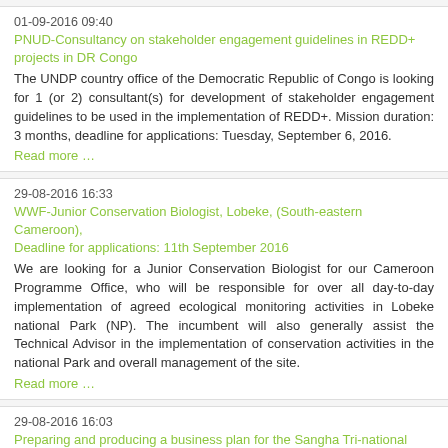01-09-2016 09:40
PNUD-Consultancy on stakeholder engagement guidelines in REDD+ projects in DR Congo
The UNDP country office of the Democratic Republic of Congo is looking for 1 (or 2) consultant(s) for development of stakeholder engagement guidelines to be used in the implementation of REDD+. Mission duration: 3 months, deadline for applications: Tuesday, September 6, 2016.
Read more …
29-08-2016 16:33
WWF-Junior Conservation Biologist, Lobeke, (South-eastern Cameroon), Deadline for applications: 11th September 2016
We are looking for a Junior Conservation Biologist for our Cameroon Programme Office, who will be responsible for over all day-to-day implementation of agreed ecological monitoring activities in Lobeke national Park (NP). The incumbent will also generally assist the Technical Advisor in the implementation of conservation activities in the national Park and overall management of the site.
Read more …
29-08-2016 16:03
Preparing and producing a business plan for the Sangha Tri-national Foundation (FTNS)
The Sangha Tri-national Foundation (FTNS) is seeking a national expert (financial profile). Academic training: Holder of at least a Masters Degree in Economic Sciences, financial management or related fields…
Read more …
25-08-2016 11:28